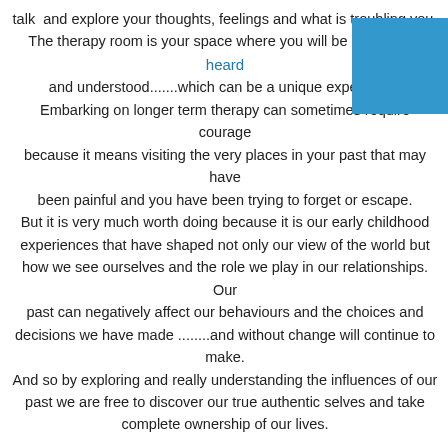talk and explore your thoughts, feelings and what is troubling you. The therapy room is your space where you will be listened to, heard and understood.......which can be a unique experience. Embarking on longer term therapy can sometimes require courage because it means visiting the very places in your past that may have been painful and you have been trying to forget or escape. But it is very much worth doing because it is our early childhood experiences that have shaped not only our view of the world but how we see ourselves and the role we play in our relationships. Our past can negatively affect our behaviours and the choices and decisions we have made ........and without change will continue to make. And so by exploring and really understanding the influences of our past we are free to discover our true authentic selves and take complete ownership of our lives.
[Figure (other): Blue square decorative element in top-right corner]